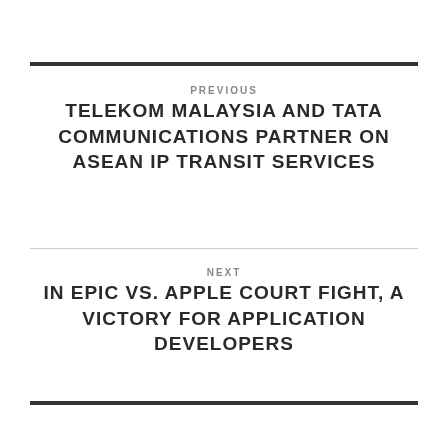PREVIOUS
TELEKOM MALAYSIA AND TATA COMMUNICATIONS PARTNER ON ASEAN IP TRANSIT SERVICES
NEXT
IN EPIC VS. APPLE COURT FIGHT, A VICTORY FOR APPLICATION DEVELOPERS